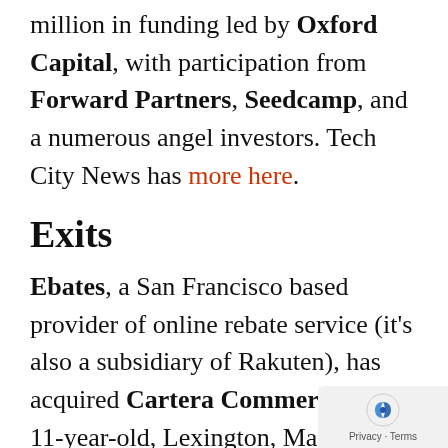million in funding led by Oxford Capital, with participation from Forward Partners, Seedcamp, and a numerous angel investors. Tech City News has more here.
Exits
Ebates, a San Francisco based provider of online rebate service (it's also a subsidiary of Rakuten), has acquired Cartera Commerce, an 11-year-old, Lexington, Ma.-based company that creates rewards and offers for card issuers, airline frequent flyer programs and merchants. Terms weren't